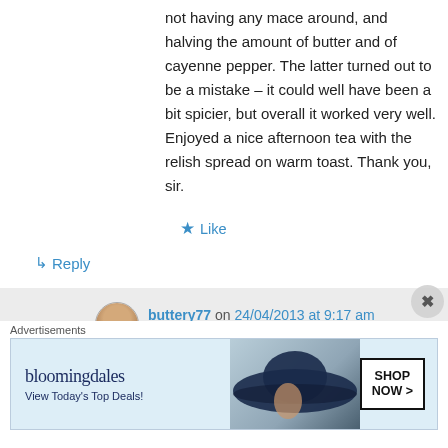not having any mace around, and halving the amount of butter and of cayenne pepper. The latter turned out to be a mistake – it could well have been a bit spicier, but overall it worked very well. Enjoyed a nice afternoon tea with the relish spread on warm toast. Thank you, sir.
★ Like
↳ Reply
buttery77 on 24/04/2013 at 9:17 am
I am very glad you tried it! It was a good idea to swap the mace for the numeg
[Figure (other): Bloomingdales advertisement banner: logo text 'bloomingdales', tagline 'View Today's Top Deals!', woman with wide-brim hat, 'SHOP NOW >' button]